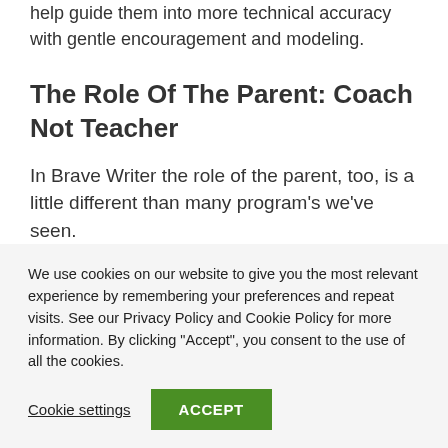help guide them into more technical accuracy with gentle encouragement and modeling.
The Role Of The Parent: Coach Not Teacher
In Brave Writer the role of the parent, too, is a little different than many program’s we’ve seen.
We use cookies on our website to give you the most relevant experience by remembering your preferences and repeat visits. See our Privacy Policy and Cookie Policy for more information. By clicking “Accept”, you consent to the use of all the cookies.
Cookie settings
ACCEPT